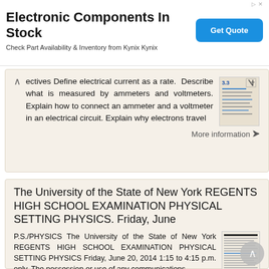[Figure (screenshot): Ad banner: Electronic Components In Stock. Check Part Availability & Inventory from Kynix Kynix. Get Quote button.]
ectives Define electrical current as a rate. Describe what is measured by ammeters and voltmeters. Explain how to connect an ammeter and a voltmeter in an electrical circuit. Explain why electrons travel
More information →
The University of the State of New York REGENTS HIGH SCHOOL EXAMINATION PHYSICAL SETTING PHYSICS. Friday, June
P.S./PHYSICS The University of the State of New York REGENTS HIGH SCHOOL EXAMINATION PHYSICAL SETTING PHYSICS Friday, June 20, 2014 1:15 to 4:15 p.m. only. The possession or use of any communications